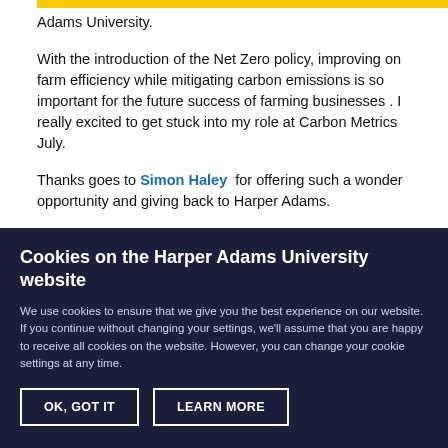Adams University.
With the introduction of the Net Zero policy, improving on farm efficiency while mitigating carbon emissions is so important for the future success of farming businesses . I really excited to get stuck into my role at Carbon Metrics July.
Thanks goes to Simon Haley for offering such a wonderful opportunity and giving back to Harper Adams.
Cookies on the Harper Adams University website
We use cookies to ensure that we give you the best experience on our website. If you continue without changing your settings, we'll assume that you are happy to receive all cookies on the website. However, you can change your cookie settings at any time.
OK, GOT IT
LEARN MORE